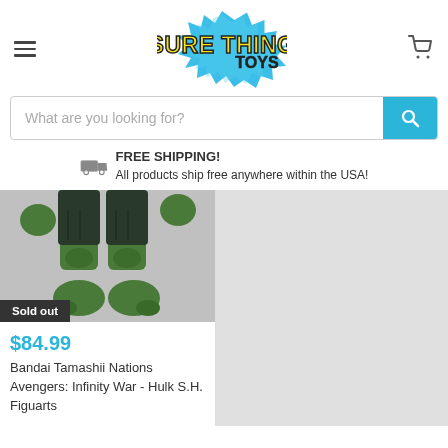[Figure (logo): Sure Thing Toys logo — colorful comic-style burst with yellow and black outlined text 'SURE THING TOYS' on a blue explosion background]
What are you looking for?
FREE SHIPPING!
All products ship free anywhere within the USA!
[Figure (photo): Lower body of a Hulk action figure in dark pants, green legs and feet, against light background]
Sold out
$84.99
Bandai Tamashii Nations Avengers: Infinity War - Hulk S.H. Figuarts